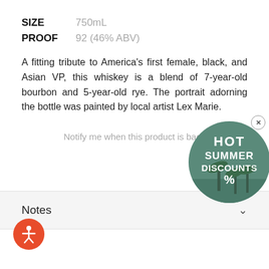SIZE   750mL
PROOF  92 (46% ABV)
A fitting tribute to America’s first female, black, and Asian VP, this whiskey is a blend of 7-year-old bourbon and 5-year-old rye. The portrait adorning the bottle was painted by local artist Lex Marie.
Notify me when this product is back
[Figure (infographic): Circular promotional badge with teal/green background showing palm trees, text reading HOT SUMMER DISCOUNTS % with an X close button in the top right]
Notes
[Figure (illustration): Orange circular accessibility icon button with white stick figure person with arms outstretched]